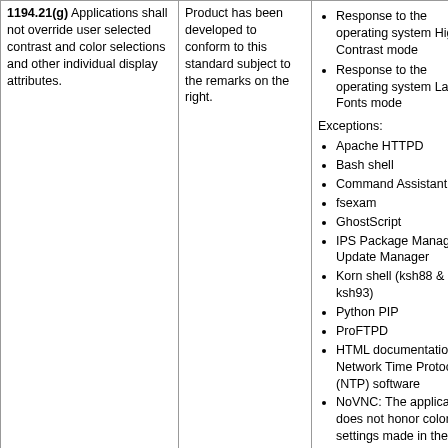1194.21(g) Applications shall not override user selected contrast and color selections and other individual display attributes.
Product has been developed to conform to this standard subject to the remarks on the right.
Response to the operating system High Contrast mode
Response to the operating system Large Fonts mode
Exceptions:
Apache HTTPD
Bash shell
Command Assistant
fsexam
GhostScript
IPS Package Manager & Update Manager
Korn shell (ksh88 & ksh93)
Python PIP
ProFTPD
HTML documentation for Network Time Protocol (NTP) software
NoVNC: The application does not honor color settings made in the operating system, but does feature a high contrast theme that is user selectable. VNC remote desktop settings are obviously not compliant with local operating system settings.